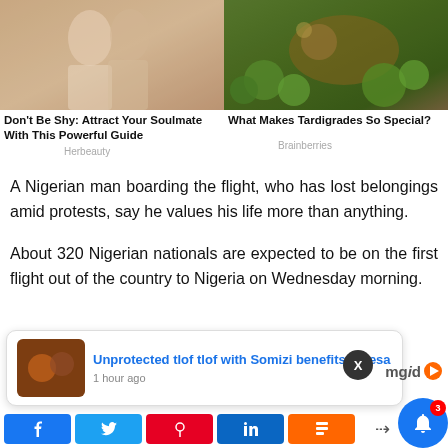[Figure (photo): Two-column ad row: left shows couple embracing, right shows tardigrades under microscope (green/brown micro-organisms)]
Don't Be Shy: Attract Your Soulmate With This Powerful Guide
Herbeauty
What Makes Tardigrades So Special?
Brainberries
A Nigerian man boarding the flight, who has lost belongings amid protests, say he values his life more than anything.
About 320 Nigerian nationals are expected to be on the first flight out of the country to Nigeria on Wednesday morning.
[Figure (screenshot): Notification card: 'Unprotected tlof tlof with Somizi benefits Palesa' - 1 hour ago, with mgid logo]
[Figure (infographic): Social share bar with Facebook, Twitter, Pinterest, LinkedIn, Flipboard buttons and share icon, plus bell notification button with badge 3]